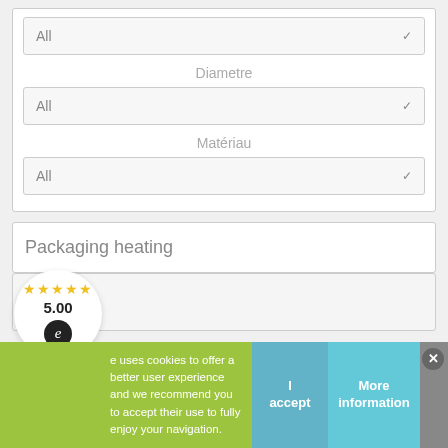All
Diametre
All
Matériau
All
Packaging heating
[Figure (other): Rating badge showing 5 gold stars and score 5.00 with e-badge logo]
e uses cookies to offer a better user experience and we recommend you to accept their use to fully enjoy your navigation.
I accept
More information